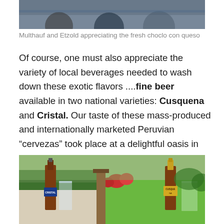[Figure (photo): Top portion of a photo showing people (Multhauf and Etzold) with cooking pots, partially cropped at top of page]
Multhauf and Etzold appreciating the fresh choclo con queso
Of course, one must also appreciate the variety of local beverages needed to wash down these exotic flavors ....fine beer available in two national varieties: Cusquena and Cristal. Our taste of these mass-produced and internationally marketed Peruvian “cervezas” took place at a delightful oasis in the midst of the teeming capitol: the Museo Rafael Larco Herrera or Larco Museum, and its idyllic garden bar, in Lima.
[Figure (photo): Photo of two beer bottles (Cristal and Cusquena) with glasses on a table, garden with green lawn and red flowers in the background at the Larco Museum garden bar in Lima]